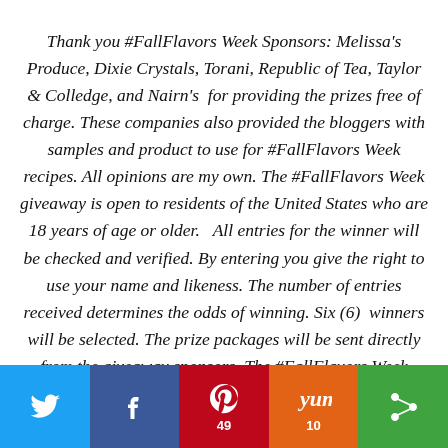Thank you #FallFlavors Week Sponsors: Melissa's Produce, Dixie Crystals, Torani, Republic of Tea, Taylor & Colledge, and Nairn's  for providing the prizes free of charge. These companies also provided the bloggers with samples and product to use for #FallFlavors Week recipes. All opinions are my own. The #FallFlavors Week giveaway is open to residents of the United States who are 18 years of age or older.   All entries for the winner will be checked and verified. By entering you give the right to use your name and likeness. The number of entries received determines the odds of winning. Six (6)  winners will be selected. The prize packages will be sent directly from the giveaway sponsors. The #FallFlavors Week Bloggers are not responsible for the fulfillment or delivery of the prize packages. Bloggers hosting
[Figure (infographic): Social media sharing bar with Twitter (light blue), Facebook (dark blue), Pinterest (red, count: 49), Yummly (orange, count: 10), and a green share button icons]